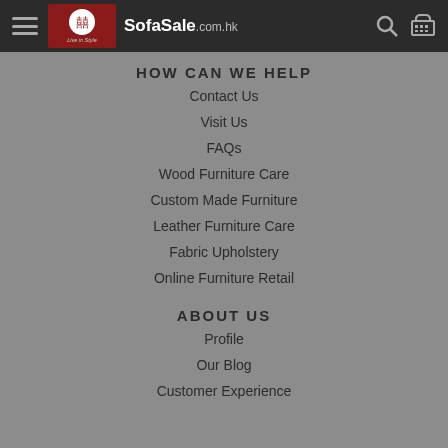SofaSale.com.hk — Live in Style
HOW CAN WE HELP
Contact Us
Visit Us
FAQs
Wood Furniture Care
Custom Made Furniture
Leather Furniture Care
Fabric Upholstery
Online Furniture Retail
ABOUT US
Profile
Our Blog
Customer Experience